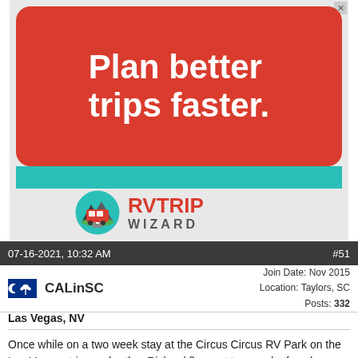[Figure (illustration): RV Trip Wizard advertisement banner. Red rounded rectangle with white bold text 'Plan better trips faster.' on teal/cyan background. Below: RV Trip Wizard logo with circular mountain/road icon and red/gray wordmark 'RVTRIP WIZARD'.]
07-16-2021, 10:32 AM
#51
[Figure (illustration): South Carolina state flag icon — dark blue background with white crescent and palmetto tree]
CALinSC
Join Date: Nov 2015
Location: Taylors, SC
Posts: 332
Las Vegas, NV
Once while on a two week stay at the Circus Circus RV Park on the Las Vegas strip, my brother Richard flew out to spend a few days with us. He loved golf.